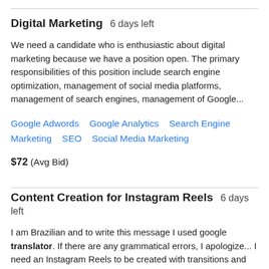Digital Marketing  6 days left
We need a candidate who is enthusiastic about digital marketing because we have a position open. The primary responsibilities of this position include search engine optimization, management of social media platforms, management of search engines, management of Google...
Google Adwords    Google Analytics    Search Engine Marketing    SEO    Social Media Marketing
$72  (Avg Bid)
Content Creation for Instagram Reels  6 days left
I am Brazilian and to write this message I used google translator. If there are any grammatical errors, I apologize... I need an Instagram Reels to be created with transitions and special effects in the movie trailer style as much as possible, using the material provided.